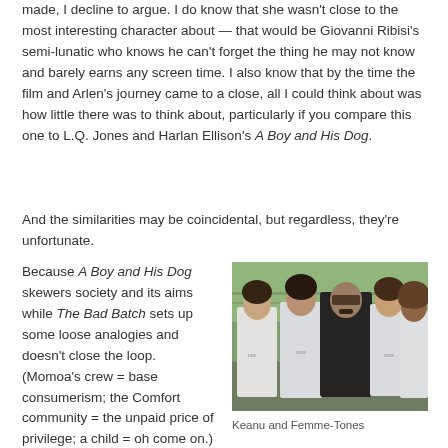made, I decline to argue. I do know that she wasn't close to the most interesting character about — that would be Giovanni Ribisi's semi-lunatic who knows he can't forget the thing he may not know and barely earns any screen time. I also know that by the time the film and Arlen's journey came to a close, all I could think about was how little there was to think about, particularly if you compare this one to L.Q. Jones and Harlan Ellison's A Boy and His Dog.
And the similarities may be coincidental, but regardless, they're unfortunate.
Because A Boy and His Dog skewers society and its aims while The Bad Batch sets up some loose analogies and doesn't close the loop. (Momoa's crew = base consumerism; the Comfort community = the unpaid price of privilege; a child = oh come on.)
[Figure (photo): A man in a black leather jacket wearing sunglasses stands among a group of women in white t-shirts outdoors near a fence.]
Keanu and Femme-Tones